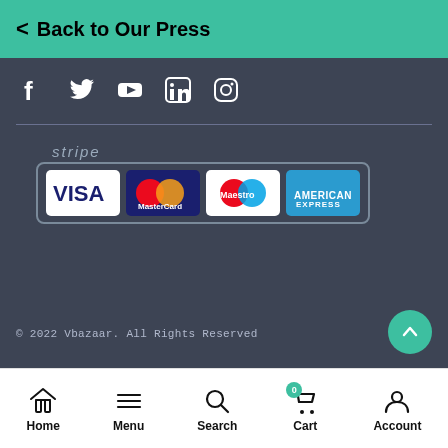< Back to Our Press
[Figure (infographic): Social media icons: Facebook, Twitter, YouTube, LinkedIn, Instagram in white on dark background]
[Figure (infographic): Stripe payment logos: VISA, MasterCard, Maestro, American Express cards inside a rounded border box with 'stripe' label above]
© 2022 Vbazaar. All Rights Reserved
[Figure (infographic): Bottom navigation bar with Home, Menu, Search, Cart (badge 0), Account icons and labels]